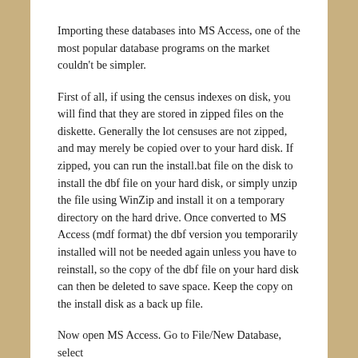Importing these databases into MS Access, one of the most popular database programs on the market couldn't be simpler.
First of all, if using the census indexes on disk, you will find that they are stored in zipped files on the diskette. Generally the lot censuses are not zipped, and may merely be copied over to your hard disk. If zipped, you can run the install.bat file on the disk to install the dbf file on your hard disk, or simply unzip the file using WinZip and install it on a temporary directory on the hard drive. Once converted to MS Access (mdf format) the dbf version you temporarily installed will not be needed again unless you have to reinstall, so the copy of the dbf file on your hard disk can then be deleted to save space. Keep the copy on the install disk as a back up file.
Now open MS Access. Go to File/New Database, select